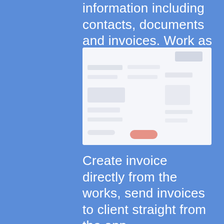information including contacts, documents and invoices. Work as a CRM.
[Figure (screenshot): A blurred screenshot of an app interface showing a document or invoice view with some UI elements, a red/salmon colored button at the bottom center.]
Create invoice directly from the works, send invoices to client straight from the app.